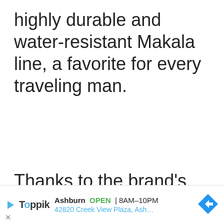highly durable and water-resistant Makala line, a favorite for every traveling man.
Thanks to the brand's affordable prices, anyone can gain access to its impeccable instru... with prem... with
[Figure (other): Advertisement banner for Toppik showing: play button icon, Toppik logo, 'Ashburn OPEN 8AM-10PM', '42820 Creek View Plaza, Ash...', navigation arrow icon, and close X button]